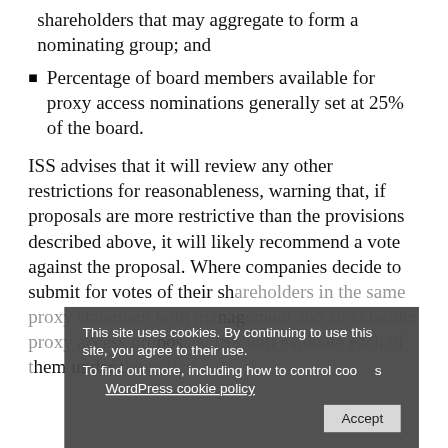shareholders that may aggregate to form a nominating group; and
Percentage of board members available for proxy access nominations generally set at 25% of the board.
ISS advises that it will review any other restrictions for reasonableness, warning that, if proposals are more restrictive than the provisions described above, it will likely recommend a vote against the proposal. Where companies decide to submit for votes of their shareholders in the same proxy statement both management and stockholder proxy access proposals, ISS will evaluate each of them under the policy.